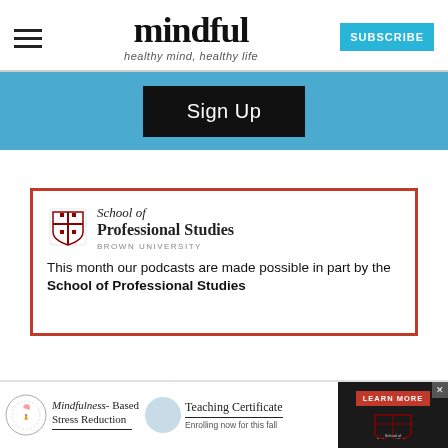mindful | healthy mind, healthy life | SUBSCRIBE
[Figure (screenshot): Blue banner with Sign Up button]
[Figure (infographic): School of Professional Studies at Brown University advertisement card with red border. Text: This month our podcasts are made possible in part by the School of Professional Studies]
This month our podcasts are made possible in part by the School of Professional Studies
[Figure (infographic): Bottom advertisement bar: Mindfulness-Based Stress Reduction | Teaching Certificate Enrolling now for this fall | LEARN MORE | School of Professional Studies logo | X close button]